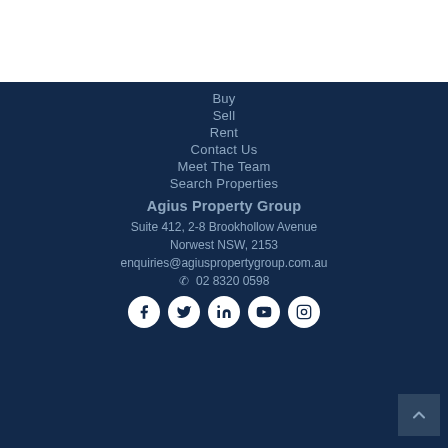Buy
Sell
Rent
Contact Us
Meet The Team
Search Properties
Agius Property Group
Suite 412, 2-8 Brookhollow Avenue
Norwest NSW, 2153
enquiries@agiuspropertygroup.com.au
02 8320 0598
[Figure (illustration): Row of social media icons (Facebook, Twitter, LinkedIn, YouTube, Instagram) as white circles on dark navy background, partially visible at bottom]